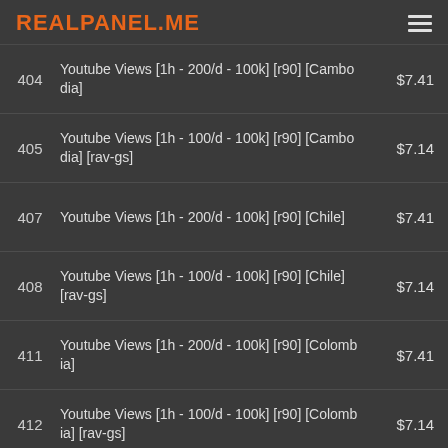REALPANEL.ME
| # | Description | Price |
| --- | --- | --- |
| 404 | Youtube Views [1h - 200/d - 100k] [r90] [Cambodia] | $7.41 |
| 405 | Youtube Views [1h - 100/d - 100k] [r90] [Cambodia] [rav-gs] | $7.14 |
| 407 | Youtube Views [1h - 200/d - 100k] [r90] [Chile] | $7.41 |
| 408 | Youtube Views [1h - 100/d - 100k] [r90] [Chile] [rav-gs] | $7.14 |
| 411 | Youtube Views [1h - 200/d - 100k] [r90] [Colombia] | $7.41 |
| 412 | Youtube Views [1h - 100/d - 100k] [r90] [Colombia] [rav-gs] | $7.14 |
| 414 | Youtube Views [1h - 200/d - 100k] [r90] [Costa Rica] | $7.41 |